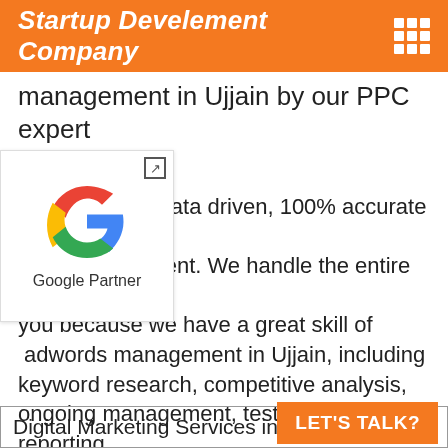Startup Develement Company
management in Ujjain by our PPC expert team.
[Figure (logo): Google Partner logo with external link icon]
ata driven, 100% accurate and ent. We handle the entire process for you because we have a great skill of adwords management in Ujjain, including keyword research, competitive analysis, ongoing management, testing and reporting. We provide 80% ROI driven google ads service in Ujjain.
Marketing Services We Provide in Your Location:
| Digital Marketing Services in U... |
| --- |